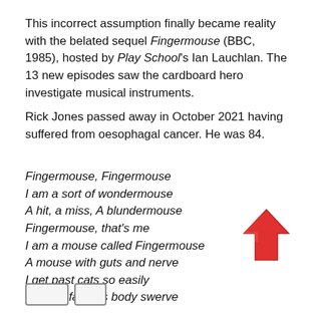This incorrect assumption finally became reality with the belated sequel Fingermouse (BBC, 1985), hosted by Play School's Ian Lauchlan. The 13 new episodes saw the cardboard hero investigate musical instruments.
Rick Jones passed away in October 2021 having suffered from oesophagal cancer. He was 84.
Fingermouse, Fingermouse
I am a sort of wondermouse
A hit, a miss, A blundermouse
Fingermouse, that's me
I am a mouse called Fingermouse
A mouse with guts and nerve
I get past cats so easily
with my famous body swerve
[Figure (illustration): A large red upward-pointing arrow icon in the bottom right area of the page.]